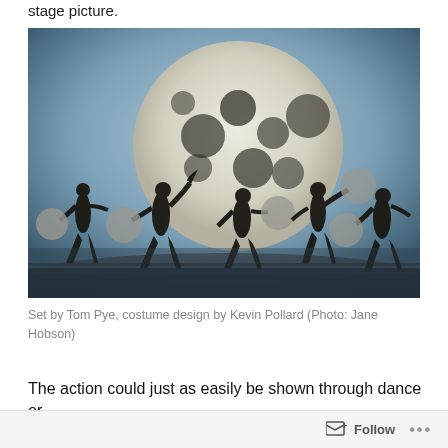stage picture.
[Figure (photo): Silhouettes of five dancers on a stage holding large spherical props, with a giant illuminated sphere in the background. Blue-grey atmospheric lighting. Dramatic stage performance image.]
Set by Tom Pye, costume design by Kevin Pollard (Photo: Jane Hobson)
The action could just as easily be shown through dance or
Follow ...